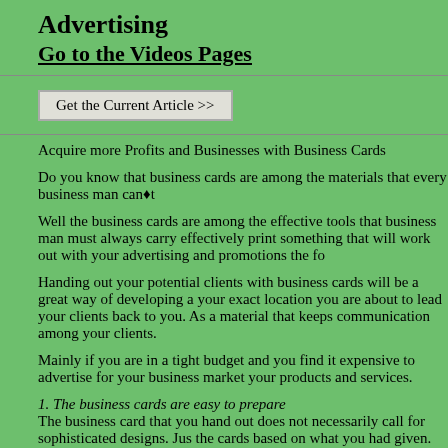Advertising
Go to the Videos Pages
Get the Current Article >>
Acquire more Profits and Businesses with Business Cards
Do you know that business cards are among the materials that every business man can�t
Well the business cards are among the effective tools that business man must always carry effectively print something that will work out with your advertising and promotions the fo
Handing out your potential clients with business cards will be a great way of developing a your exact location you are about to lead your clients back to you. As a material that keeps communication among your clients.
Mainly if you are in a tight budget and you find it expensive to advertise for your business market your products and services.
1. The business cards are easy to prepare
The business card that you hand out does not necessarily call for sophisticated designs. Jus the cards based on what you had given.
2. The business cards can serve as a reflection of your business
Your objective in handing out you cards is to get your clients attention and for them to be i valuably tell what kind of business you are in to.